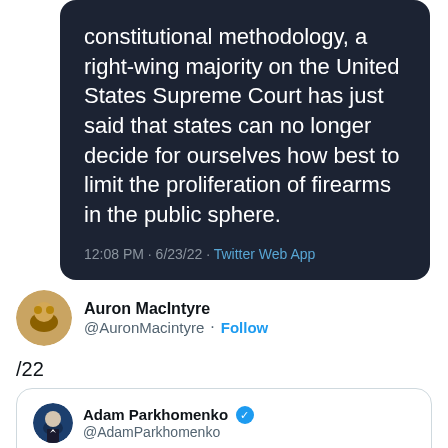[Figure (screenshot): Screenshot of a Twitter thread. Top portion shows a dark-themed quoted tweet reading: 'constitutional methodology, a right-wing majority on the United States Supreme Court has just said that states can no longer decide for ourselves how best to limit the proliferation of firearms in the public sphere.' with timestamp '12:08 PM · 6/23/22 · Twitter Web App'. Below is Auron MacIntyre (@AuronMacintyre) with a Follow button and thread marker '/22'. At the bottom is a quoted tweet card from Adam Parkhomenko (@AdamParkhomenko, verified) with partial text 'Sometimes mass shooters wear rob']